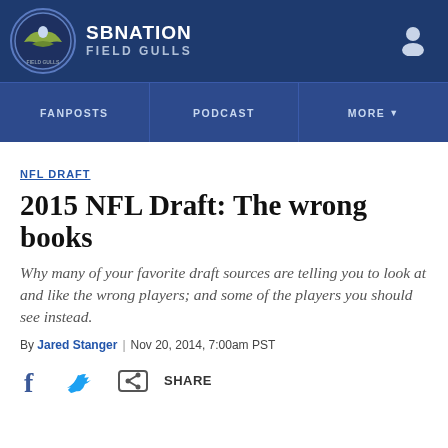SB NATION FIELD GULLS
NFL DRAFT
2015 NFL Draft: The wrong books
Why many of your favorite draft sources are telling you to look at and like the wrong players; and some of the players you should see instead.
By Jared Stanger | Nov 20, 2014, 7:00am PST